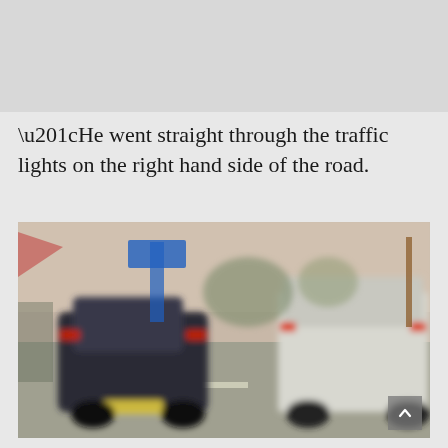“He went straight through the traffic lights on the right hand side of the road.
[Figure (photo): Blurry CCTV or dashcam footage showing two vehicles on a road — a dark car on the left and a white van on the right — at what appears to be a road junction or traffic light area. Trees, signage and barriers are visible in the background.]